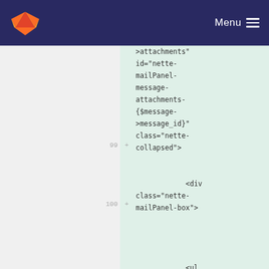GitLab navigation bar with logo and Menu button
[Figure (screenshot): GitLab diff view showing added lines of HTML code. Line 99 shows a continuation of an HTML element with attributes: >attachments" id="nette-mailPanel-message-attachments-{$message->message_id}" class="nette-collapsed">. Line 100 shows: <div class="nette-mailPanel-box">. Below line 100 is a partial line showing: <ul]